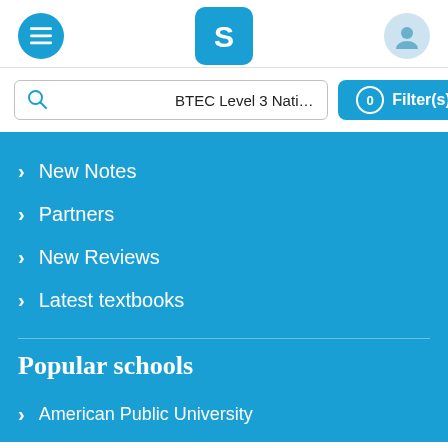[Figure (screenshot): App navigation header with hamburger menu, S logo, and user avatar]
BTEC Level 3 National Business Stude
0 Filter(s)
New Notes
Partners
New Reviews
Latest textbooks
Popular schools
American Public University
Arizona State University